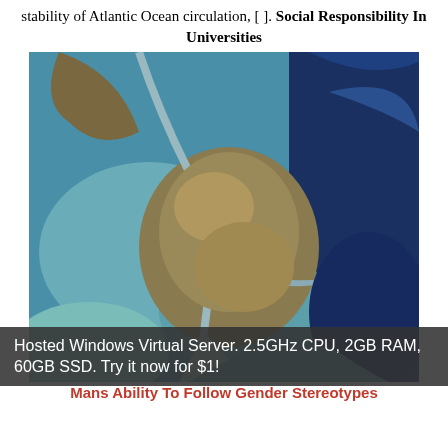stability of Atlantic Ocean circulation, [ ]. Social Responsibility In Universities
[Figure (photo): Satellite aerial photograph of a river delta or coastal wetland area, showing brown/tan land masses interspersed with green-tinted shallow water and deep blue ocean water.]
Hosted Windows Virtual Server. 2.5GHz CPU, 2GB RAM, 60GB SSD. Try it now for $1!
Mans Ability To Follow Gender Stereotypes